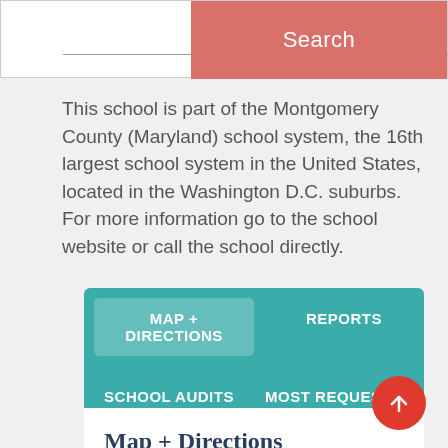[Figure (screenshot): Search bar with text input field and red Search button on the right]
This school is part of the Montgomery County (Maryland) school system, the 16th largest school system in the United States, located in the Washington D.C. suburbs. For more information go to the school website or call the school directly.
[Figure (infographic): Teal navigation menu with four options: MAP + DIRECTIONS (active/highlighted), REPORTS, SCHOOL AUDITS, MOST REQUESTED]
Map + Directions
4615 Sunflower Drive
Rockville, MD 20853